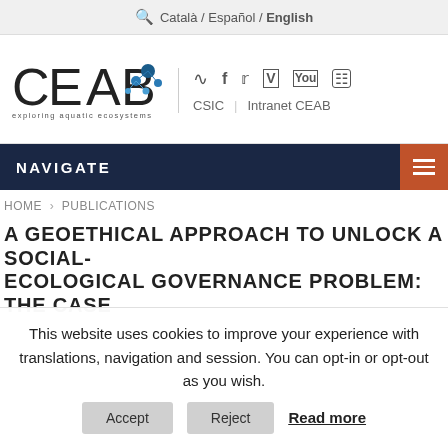Català / Español / English
[Figure (logo): CEAB logo with text 'exploring aquatic ecosystems' and social media icons including RSS, Facebook, Twitter, Vimeo, YouTube, Instagram. Links: CSIC, Intranet CEAB]
NAVIGATE
HOME > PUBLICATIONS
A GEOETHICAL APPROACH TO UNLOCK A SOCIAL-ECOLOGICAL GOVERNANCE PROBLEM: THE CASE
This website uses cookies to improve your experience with translations, navigation and session. You can opt-in or opt-out as you wish. Accept Reject Read more